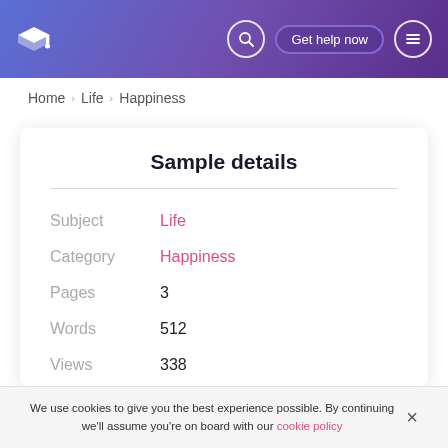Graduation cap logo | Search | Get help now | Menu
Home > Life > Happiness
Sample details
| Field | Value |
| --- | --- |
| Subject | Life |
| Category | Happiness |
| Pages | 3 |
| Words | 512 |
| Views | 338 |
We use cookies to give you the best experience possible. By continuing we'll assume you're on board with our cookie policy